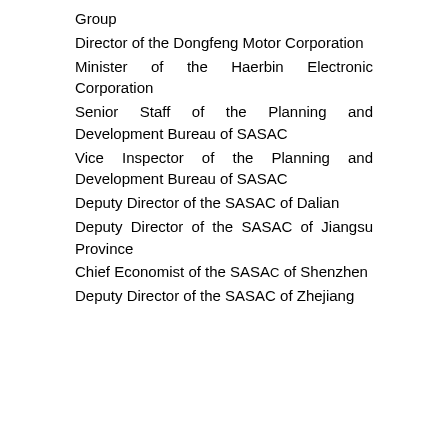Group
Director of the Dongfeng Motor Corporation
Minister of the Haerbin Electronic Corporation
Senior Staff of the Planning and Development Bureau of SASAC
Vice Inspector of the Planning and Development Bureau of SASAC
Deputy Director of the SASAC of Dalian
Deputy Director of the SASAC of Jiangsu Province
Chief Economist of the SASAC of Shenzhen
Deputy Director of the SASAC of Zhejiang